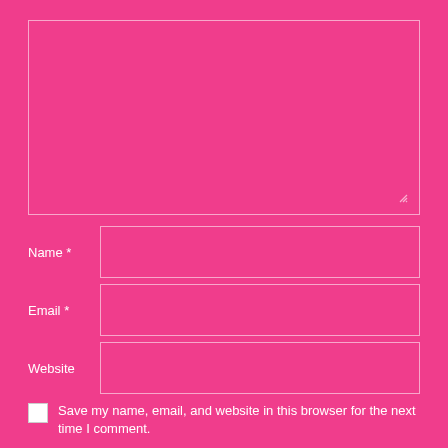[Figure (screenshot): Comment form with a large textarea, Name, Email, Website input fields, a save checkbox, and a POST COMMENT button on a hot pink background]
Name *
Email *
Website
Save my name, email, and website in this browser for the next time I comment.
POST COMMENT